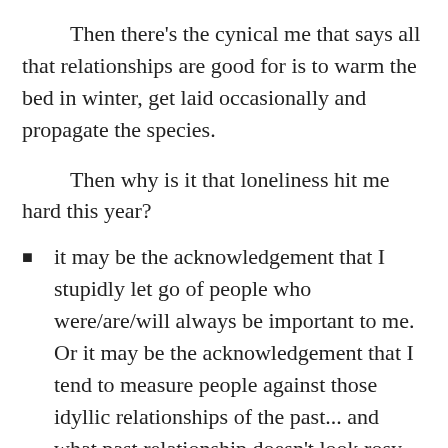Then there's the cynical me that says all that relationships are good for is to warm the bed in winter, get laid occasionally and propagate the species.
Then why is it that loneliness hit me hard this year?
it may be the acknowledgement that I stupidly let go of people who were/are/will always be important to me. Or it may be the acknowledgement that I tend to measure people against those idyllic relationships of the past... and what past relationship doesn't look rosy 10 years later?
it may be that I'm tired of being the third wheel of the bicycle? I've come to hate the idea of hanging